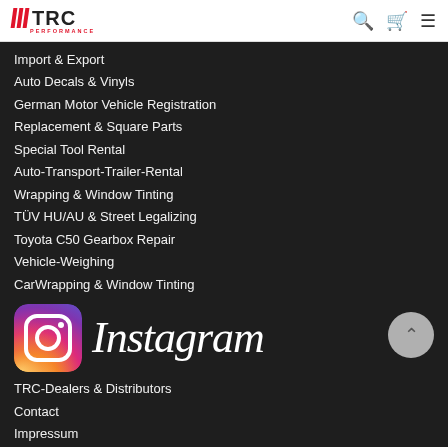TRC PERFORMANCE
Import & Export
Auto Decals & Vinyls
German Motor Vehicle Registration
Replacement & Square Parts
Special Tool Rental
Auto-Transport-Trailer-Rental
Wrapping & Window Tinting
TÜV HU/AU & Street Legalizing
Toyota C50 Gearbox Repair
Vehicle-Weighing
CarWrapping & Window Tinting
[Figure (logo): Instagram logo with icon and wordmark on dark background]
TRC-Dealers & Distributors
Contact
Impressum